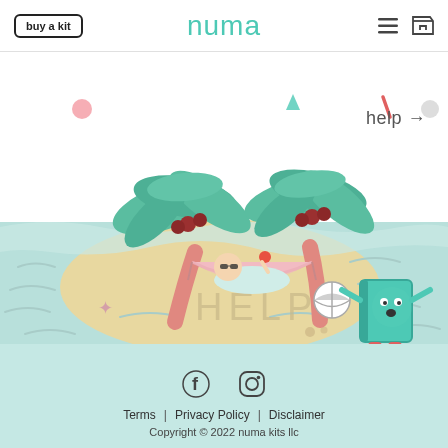buy a kit | numa | (menu icon) (cart icon)
[Figure (illustration): Colorful cartoon illustration of a tropical island with two pink palm trees, a character relaxing in a hammock, a book character standing on the sand, 'HELP' written in the sand, ocean waves surrounding the island, decorative confetti shapes in the background.]
help →
[Figure (other): Facebook and Instagram social media icons]
Terms | Privacy Policy | Disclaimer
Copyright © 2022 numa kits llc